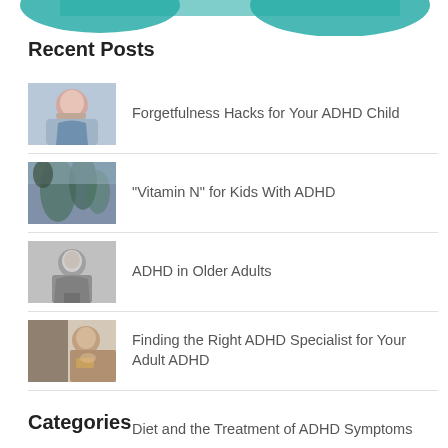[Figure (illustration): Teal/turquoise decorative logo or banner at top of page]
Recent Posts
Forgetfulness Hacks for Your ADHD Child
“Vitamin N” for Kids With ADHD
ADHD in Older Adults
Finding the Right ADHD Specialist for Your Adult ADHD
Diet and the Treatment of ADHD Symptoms
Categories